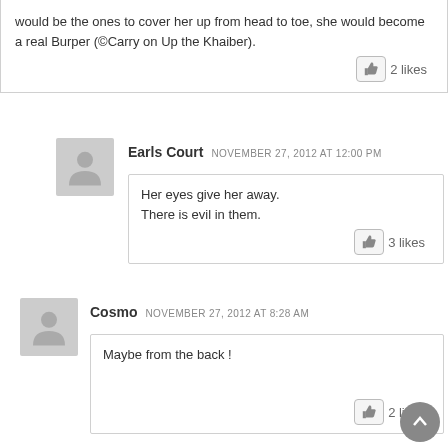would be the ones to cover her up from head to toe, she would become a real Burper (©Carry on Up the Khaiber).
2 likes
Earls Court  NOVEMBER 27, 2012 AT 12:00 PM
Her eyes give her away.
There is evil in them.
3 likes
Cosmo  NOVEMBER 27, 2012 AT 8:28 AM
Maybe from the back !
2 likes